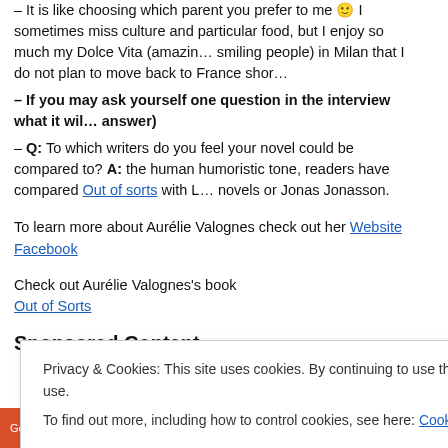– It is like choosing which parent you prefer to me 🙂 I sometimes miss culture and particular food, but I enjoy so much my Dolce Vita (amazing smiling people) in Milan that I do not plan to move back to France shor…
– If you may ask yourself one question in the interview what it will answer)
– Q: To which writers do you feel your novel could be compared to? A: the human humoristic tone, readers have compared Out of sorts with L… novels or Jonas Jonasson.
To learn more about Aurélie Valognes check out her Website
Facebook
Check out Aurélie Valognes's book
Out of Sorts
Sponsored Content
Privacy & Cookies: This site uses cookies. By continuing to use this website, you agree to their use.
To find out more, including how to control cookies, see here: Cookie Policy
Close and accept